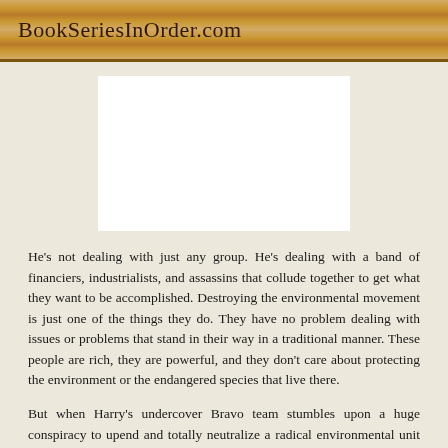BookSeriesInOrder.com
[Figure (other): White rectangular image placeholder area]
He's not dealing with just any group. He's dealing with a band of financiers, industrialists, and assassins that collude together to get what they want to be accomplished. Destroying the environmental movement is just one of the things they do. They have no problem dealing with issues or problems that stand in their way in a traditional manner. These people are rich, they are powerful, and they don't care about protecting the environment or the endangered species that live there.
But when Harry's undercover Bravo team stumbles upon a huge conspiracy to upend and totally neutralize a radical environmental unit that threatens their goals, he and his team suddenly find that they have a target on their backs too. Even though they work for the government, it's no guarantee that they will have any